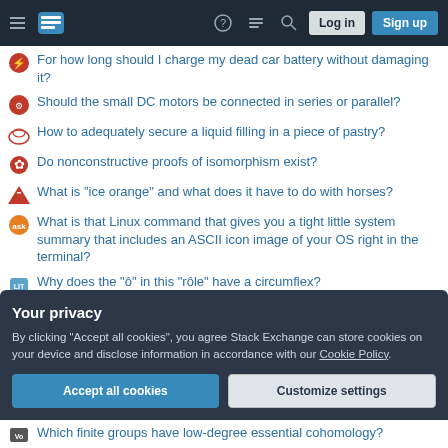Stack Exchange navigation bar with Log in and Sign up buttons
For how long should I charge my dead car battery without damaging it?
Should the small DC motors be connected in series or parallel?
How to adequately secure a liquid filling in a piece of pastry?
Do nonconstructive proofs of isomorphism exist?
What is "ice orange" and what does it have to do with horses?
What is that Linux command that gives you a tight little system summary that includes an ASCII icon image of your OS right in the terminal?
Why does the "ô" in this "rôle" have a circumflex?
How to align equations in two column
Your privacy
By clicking "Accept all cookies", you agree Stack Exchange can store cookies on your device and disclose information in accordance with our Cookie Policy.
Which finite groups have low-degree essential cohomology?